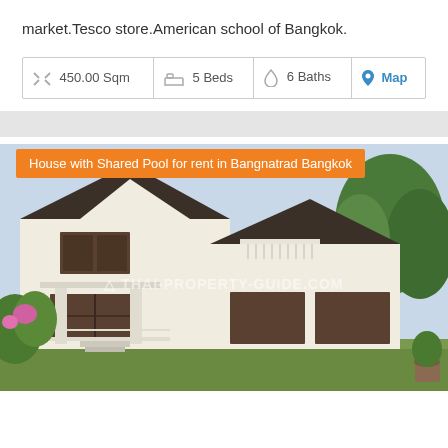market.Tesco store.American school of Bangkok.
| Size | Beds | Baths | Map |
| --- | --- | --- | --- |
| 450.00 Sqm | 5 Beds | 6 Baths | Map |
[Figure (photo): Exterior photo of a two-storey white house with dark roof tiles, surrounded by tropical plants and greenery. Watermark reads THAI-PROPERTY-GUIDE.COM. Orange banner overlay: House with Shared Pool for rent in Bangnatrad Bangkok.]